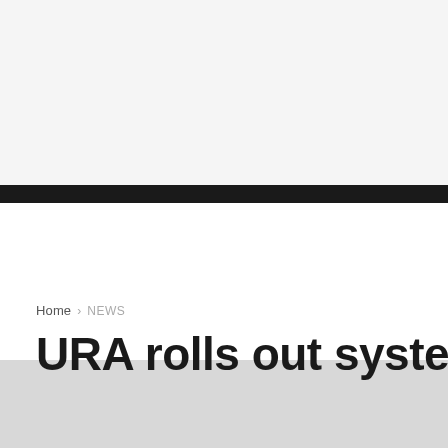Home › NEWS
URA rolls out system to